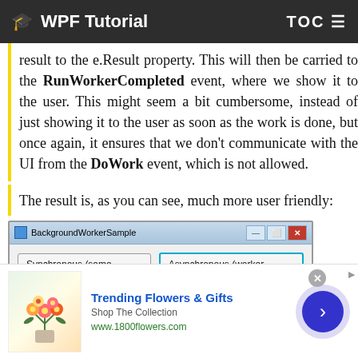WPF Tutorial  TOC
result to the e.Result property. This will then be carried to the RunWorkerCompleted event, where we show it to the user. This might seem a bit cumbersome, instead of just showing it to the user as soon as the work is done, but once again, it ensures that we don't communicate with the UI from the DoWork event, which is not allowed.
The result is, as you can see, much more user friendly:
[Figure (screenshot): Windows application dialog titled 'BackgroundWorkerSample' with two buttons: 'Synchronous (same thread)' and 'Asynchronous (worker thread)']
[Figure (screenshot): Advertisement banner for '1800flowers.com' showing Trending Flowers & Gifts with flower image]